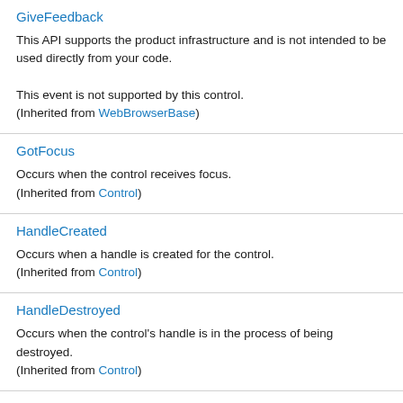GiveFeedback
This API supports the product infrastructure and is not intended to be used directly from your code.

This event is not supported by this control.
(Inherited from WebBrowserBase)
GotFocus
Occurs when the control receives focus.
(Inherited from Control)
HandleCreated
Occurs when a handle is created for the control.
(Inherited from Control)
HandleDestroyed
Occurs when the control's handle is in the process of being destroyed.
(Inherited from Control)
HelpRequested